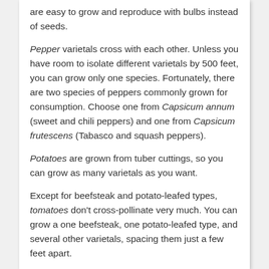are easy to grow and reproduce with bulbs instead of seeds.
Pepper varietals cross with each other. Unless you have room to isolate different varietals by 500 feet, you can grow only one species. Fortunately, there are two species of peppers commonly grown for consumption. Choose one from Capsicum annum (sweet and chili peppers) and one from Capsicum frutescens (Tabasco and squash peppers).
Potatoes are grown from tuber cuttings, so you can grow as many varietals as you want.
Except for beefsteak and potato-leafed types, tomatoes don't cross-pollinate very much. You can grow a one beefsteak, one potato-leafed type, and several other varietals, spacing them just a few feet apart.
New Survival Seed Bank™ Lets You Plant A